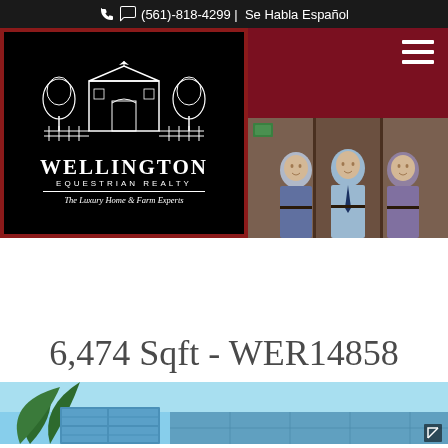(561)-818-4299 | Se Habla Español
[Figure (logo): Wellington Equestrian Realty logo with barn and trees illustration, text: WELLINGTON EQUESTRIAN REALTY, The Luxury Home & Farm Experts]
[Figure (photo): Three men standing in what appears to be an equestrian facility or barn interior, dressed in business casual attire]
6,474 Sqft - WER14858
[Figure (photo): Partial view of a property exterior with blue sky, palm trees visible at bottom of page]